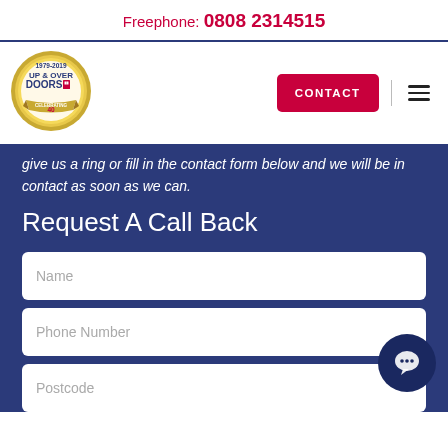Freephone: 0808 2314515
[Figure (logo): Up & Over Doors logo — circular gold badge with text '1979-2019 UP & OVER DOORS' and 'CELEBRATING 40 GREAT YEARS']
give us a ring or fill in the contact form below and we will be in contact as soon as we can.
Request A Call Back
Name
Phone Number
Postcode